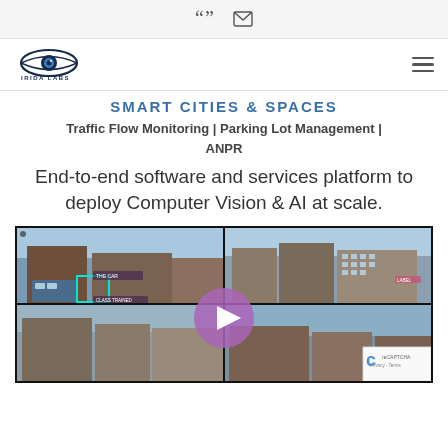" [quote icon] [envelope icon]
[Figure (logo): Irida Labs logo — eye icon with company name IRIDA LABS below]
SMART CITIES & SPACES
Traffic Flow Monitoring | Parking Lot Management | ANPR
End-to-end software and services platform to deploy Computer Vision & AI at scale.
[Figure (screenshot): Video thumbnail showing four-panel street camera footage with a purple play button overlay and a reCAPTCHA badge in the bottom-right corner.]